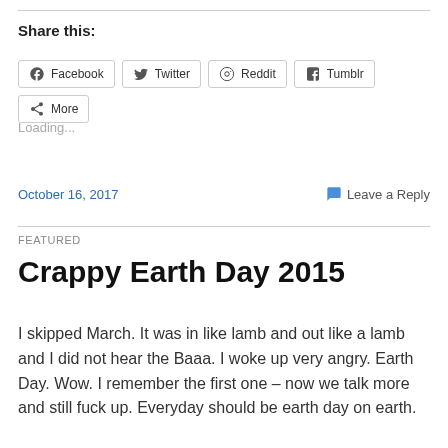Share this:
Facebook  Twitter  Reddit  Tumblr  More
Loading...
October 16, 2017    Leave a Reply
FEATURED
Crappy Earth Day 2015
I skipped March. It was in like lamb and out like a lamb and I did not hear the Baaa. I woke up very angry. Earth Day. Wow. I remember the first one – now we talk more and still fuck up. Everyday should be earth day on earth.